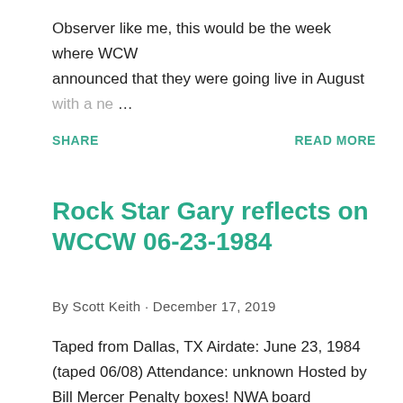Observer like me, this would be the week where WCW announced that they were going live in August with a ne…
SHARE
READ MORE
Rock Star Gary reflects on WCCW 06-23-1984
By Scott Keith · December 17, 2019
Taped from Dallas, TX Airdate: June 23, 1984 (taped 06/08) Attendance: unknown Hosted by Bill Mercer Penalty boxes! NWA board meetings! Parsons and Hernandez battle to garner the most heat. Which one will succeed? And who…